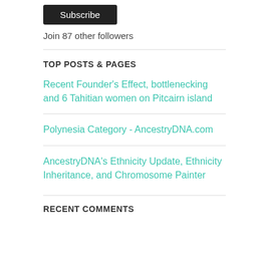[Figure (other): Subscribe button (dark/black rounded rectangle with white text)]
Join 87 other followers
TOP POSTS & PAGES
Recent Founder's Effect, bottlenecking and 6 Tahitian women on Pitcairn island
Polynesia Category - AncestryDNA.com
AncestryDNA's Ethnicity Update, Ethnicity Inheritance, and Chromosome Painter
RECENT COMMENTS